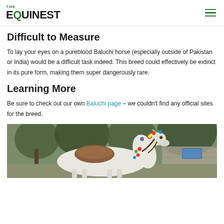THE EQUINEST
blood left in their veins, making this a dangerously rare breed.
Difficult to Measure
To lay your eyes on a pureblood Baluchi horse (especially outside of Pakistan or India) would be a difficult task indeed. This breed could effectively be extinct in its pure form, making them super dangerously rare.
Learning More
Be sure to check out our own Baluchi page – we couldn't find any official sites for the breed.
[Figure (photo): A white Baluchi horse decorated with colorful ornaments and a saddle, standing in a forested area with stone wall in background.]